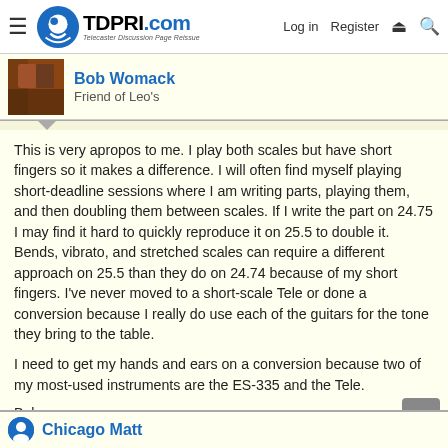TDPRI.com — Telecaster Discussion Page Reissue | Log in | Register
Bob Womack
Friend of Leo's
This is very apropos to me. I play both scales but have short fingers so it makes a difference. I will often find myself playing short-deadline sessions where I am writing parts, playing them, and then doubling them between scales. If I write the part on 24.75 I may find it hard to quickly reproduce it on 25.5 to double it. Bends, vibrato, and stretched scales can require a different approach on 25.5 than they do on 24.74 because of my short fingers. I've never moved to a short-scale Tele or done a conversion because I really do use each of the guitars for the tone they bring to the table.

I need to get my hands and ears on a conversion because two of my most-used instruments are the ES-335 and the Tele.

Bob
Chicago Matt